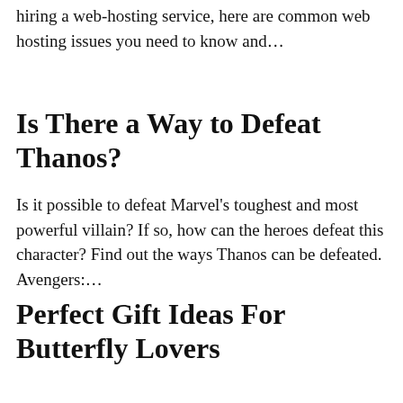hiring a web-hosting service, here are common web hosting issues you need to know and…
Is There a Way to Defeat Thanos?
Is it possible to defeat Marvel's toughest and most powerful villain? If so, how can the heroes defeat this character? Find out the ways Thanos can be defeated.  Avengers:…
Perfect Gift Ideas For Butterfly Lovers
Butterflies are a natural beauty. More often, men and women use it as a symbol of a new life, a new hope, new chances, and even freedom. Because of…